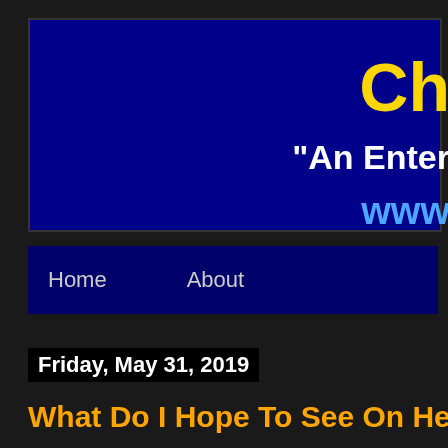Ch
"An Enter
www
Home   About
Friday, May 31, 2019
What Do I Hope To See On Hell's